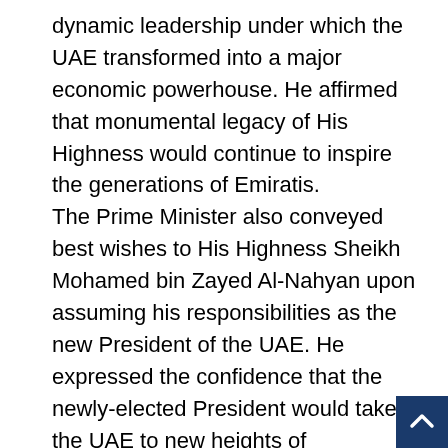dynamic leadership under which the UAE transformed into a major economic powerhouse. He affirmed that monumental legacy of His Highness would continue to inspire the generations of Emiratis. The Prime Minister also conveyed best wishes to His Highness Sheikh Mohamed bin Zayed Al-Nahyan upon assuming his responsibilities as the new President of the UAE. He expressed the confidence that the newly-elected President would take the UAE to new heights of development and progress in the years to come. His Highness Sheikh Mohamed conveyed sincere gratitude to the Prime Minister and the leadership and people of Pakistan for their solidarity during the hour of grief. The two leaders affirmed their shared commitment to further deepen the Pakistan-UAE relationship in all